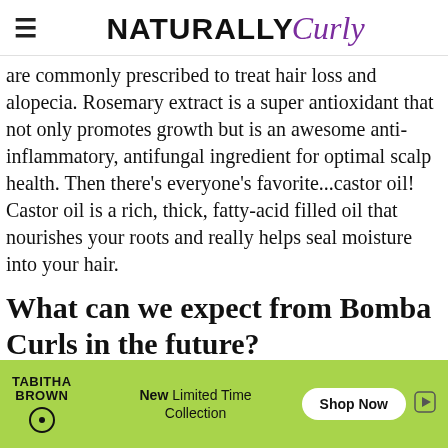NATURALLY Curly
are commonly prescribed to treat hair loss and alopecia. Rosemary extract is a super antioxidant that not only promotes growth but is an awesome anti-inflammatory, antifungal ingredient for optimal scalp health. Then there's everyone's favorite...castor oil! Castor oil is a rich, thick, fatty-acid filled oil that nourishes your roots and really helps seal moisture into your hair.
What can we expect from Bomba Curls in the future?
We will be releasing our new Deep Treatment Mask very
[Figure (screenshot): Advertisement banner for Tabitha Brown New Limited Time Collection with Shop Now button on green background]